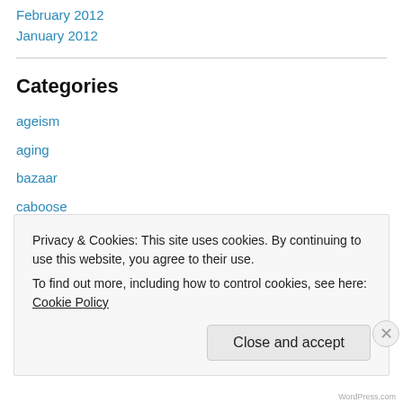February 2012
January 2012
Categories
ageism
aging
bazaar
caboose
community
cotton
Eureka
Eureka Montana Quilt Shop (truncated)
Privacy & Cookies: This site uses cookies. By continuing to use this website, you agree to their use.
To find out more, including how to control cookies, see here: Cookie Policy
Close and accept